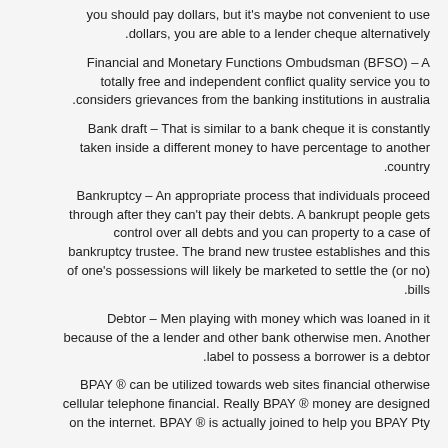you should pay dollars, but it's maybe not convenient to use dollars, you are able to a lender cheque alternatively.
Financial and Monetary Functions Ombudsman (BFSO) – A totally free and independent conflict quality service you to considers grievances from the banking institutions in australia.
Bank draft – That is similar to a bank cheque it is constantly taken inside a different money to have percentage to another country.
Bankruptcy – An appropriate process that individuals proceed through after they can't pay their debts. A bankrupt people gets control over all debts and you can property to a case of bankruptcy trustee. The brand new trustee establishes and this (or no) of one's possessions will likely be marketed to settle the bills.
Debtor – Men playing with money which was loaned in it because of the a lender and other bank otherwise men. Another label to possess a borrower is a debtor.
BPAY ® can be utilized towards web sites financial otherwise cellular telephone financial. Really BPAY ® money are designed on the internet. BPAY ® is actually joined to help you BPAY Pty